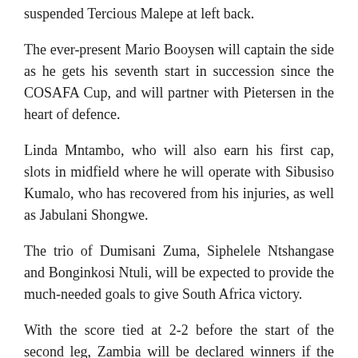suspended Tercious Malepe at left back.
The ever-present Mario Booysen will captain the side as he gets his seventh start in succession since the COSAFA Cup, and will partner with Pietersen in the heart of defence.
Linda Mntambo, who will also earn his first cap, slots in midfield where he will operate with Sibusiso Kumalo, who has recovered from his injuries, as well as Jabulani Shongwe.
The trio of Dumisani Zuma, Siphelele Ntshangase and Bonginkosi Ntuli, will be expected to provide the much-needed goals to give South Africa victory.
With the score tied at 2-2 before the start of the second leg, Zambia will be declared winners if the match ends that way, and qualify for the 2018 CHAN tournament in Kenya.